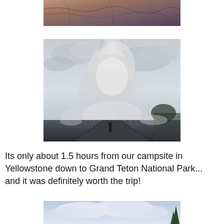[Figure (photo): Partial photo at top of page showing aerial or wide view with reddish-brown earthy tones and dark streaks, likely a thermal feature at Yellowstone]
[Figure (photo): Photo of a geyser eruption at Yellowstone with a large plume of steam rising into a cloudy sky, a silhouetted person on a boardwalk in the foreground]
Its only about 1.5 hours from our campsite in Yellowstone down to Grand Teton National Park... and it was definitely worth the trip!
[Figure (photo): Partial photo at bottom of page showing cloudy sky and a tree silhouette, likely at Grand Teton National Park]